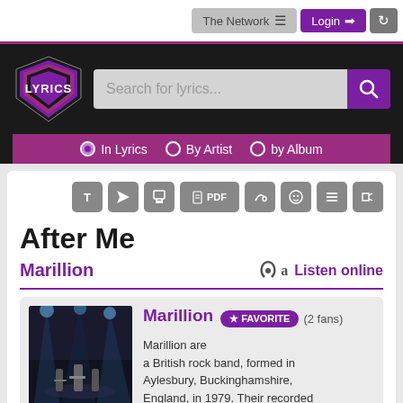The Network ≡   Login →   ⟳
[Figure (logo): Lyrics website logo - shield shape with LYRICS text in pink/white on dark background]
Search for lyrics...
In Lyrics   By Artist   by Album
T  ✉  🖨  PDF  ♪  ☺  ☰  🔊
After Me
Marillion
Listen online
Marillion ★ FAVORITE (2 fans)
Marillion are a British rock band, formed in Aylesbury, Buckinghamshire, England, in 1979. Their recorded studio output since 1982 is